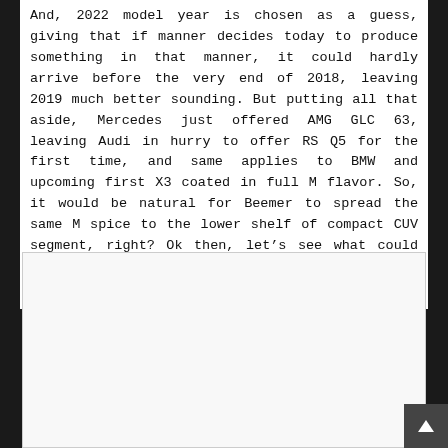And, 2022 model year is chosen as a guess, giving that if manner decides today to produce something in that manner, it could hardly arrive before the very end of 2018, leaving 2019 much better sounding. But putting all that aside, Mercedes just offered AMG GLC 63, leaving Audi in hurry to offer RS Q5 for the first time, and same applies to BMW and upcoming first X3 coated in full M flavor. So, it would be natural for Beemer to spread the same M spice to the lower shelf of compact CUV segment, right? Ok then, let's see what could 2022 BMW X2 M possibly bring to the game, apart from probably hefty $50k price tag.
[Figure (photo): Large image placeholder box with light gray background]